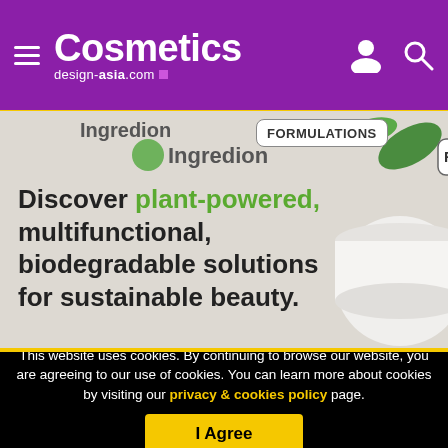Cosmetics design-asia.com
[Figure (advertisement): Ingredion advertisement showing 'FORMULATIONS' badge and text: Discover plant-powered, multifunctional, biodegradable solutions for sustainable beauty. Light gray background with cosmetic jar and green leaves.]
This website uses cookies. By continuing to browse our website, you are agreeing to our use of cookies. You can learn more about cookies by visiting our privacy & cookies policy page.
I Agree